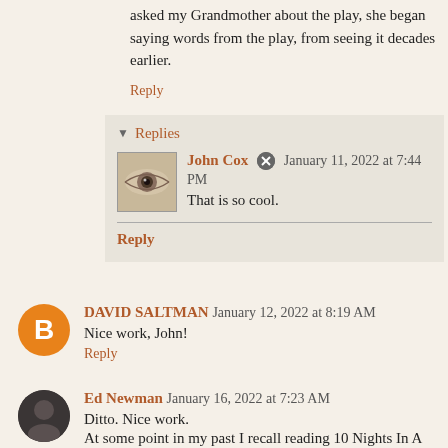asked my Grandmother about the play, she began saying words from the play, from seeing it decades earlier.
Reply
Replies
John Cox  January 11, 2022 at 7:44 PM
That is so cool.
Reply
DAVID SALTMAN  January 12, 2022 at 8:19 AM
Nice work, John!
Reply
Ed Newman  January 16, 2022 at 7:23 AM
Ditto. Nice work.
At some point in my past I recall reading 10 Nights In A Bar (